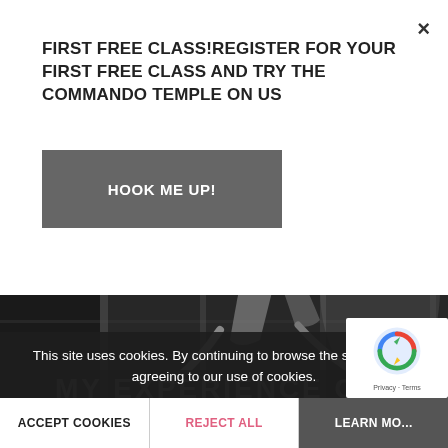FIRST FREE CLASS!REGISTER FOR YOUR FIRST FREE CLASS AND TRY THE COMMANDO TEMPLE ON US
HOOK ME UP!
[Figure (photo): Black and white photo of people doing gymnastic movements on gym equipment, shot from below]
MY EXPERIENCE OF THE COMMANDO TEMPLE BY
This site uses cookies. By continuing to browse the site, you are agreeing to our use of cookies.
ACCEPT COOKIES
REJECT ALL
LEARN MORE